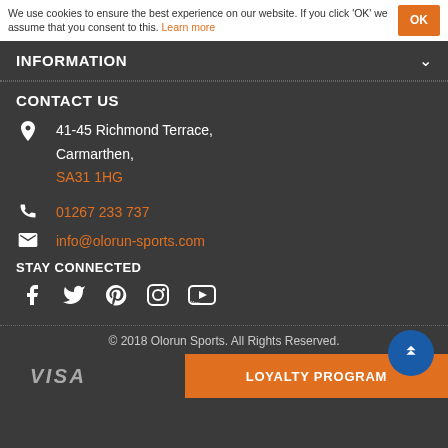We use cookies to ensure the best experience on our website. If you click 'OK' we assume that you consent to this. Learn more
INFORMATION
CONTACT US
41-45 Richmond Terrace, Carmarthen, SA31 1HG
01267 233 737
info@olorun-sports.com
STAY CONNECTED
[Figure (infographic): Social media icons: Facebook, Twitter, Pinterest, Instagram, YouTube]
© 2018 Olorun Sports. All Rights Reserved.
VISA
LOYALTY PROGRAM